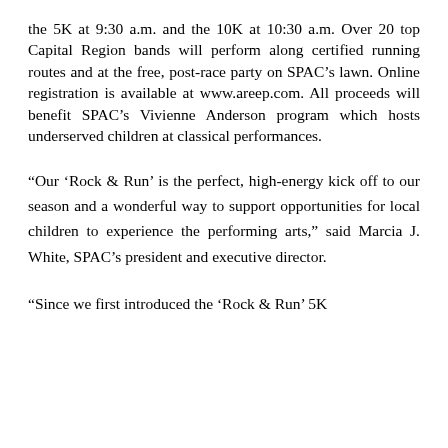the 5K at 9:30 a.m. and the 10K at 10:30 a.m. Over 20 top Capital Region bands will perform along certified running routes and at the free, post-race party on SPAC’s lawn. Online registration is available at www.areep.com. All proceeds will benefit SPAC’s Vivienne Anderson program which hosts underserved children at classical performances.
“Our ‘Rock & Run’ is the perfect, high-energy kick off to our season and a wonderful way to support opportunities for local children to experience the performing arts," said Marcia J. White, SPAC’s president and executive director.
“Since we first introduced the ‘Rock & Run’ 5K